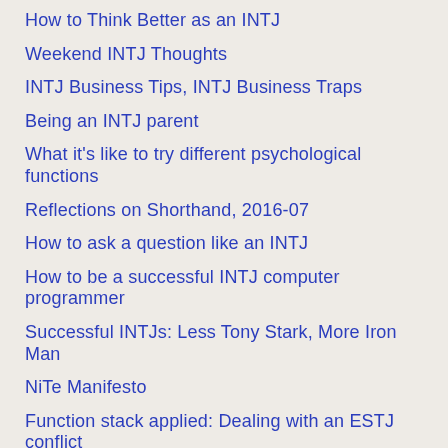How to Think Better as an INTJ
Weekend INTJ Thoughts
INTJ Business Tips, INTJ Business Traps
Being an INTJ parent
What it's like to try different psychological functions
Reflections on Shorthand, 2016-07
How to ask a question like an INTJ
How to be a successful INTJ computer programmer
Successful INTJs: Less Tony Stark, More Iron Man
NiTe Manifesto
Function stack applied: Dealing with an ESTJ conflict